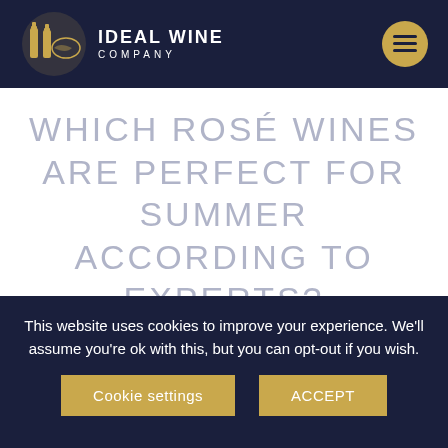[Figure (logo): Ideal Wine Company logo with two wine bottles and world map graphic, white text on dark navy background, with hamburger menu button in gold circle top right]
WHICH ROSÉ WINES ARE PERFECT FOR SUMMER ACCORDING TO EXPERTS?
Most wine-lovers go through phases with rosé wines. There are at least a few youthful years spent drinking
This website uses cookies to improve your experience. We'll assume you're ok with this, but you can opt-out if you wish.
Cookie settings  ACCEPT